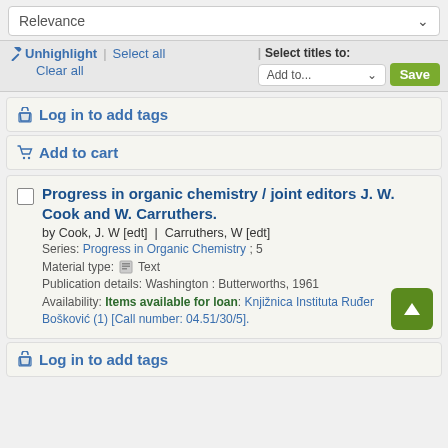Relevance
Unhighlight | Select all | Clear all | Select titles to: Add to... Save
Log in to add tags
Add to cart
Progress in organic chemistry / joint editors J. W. Cook and W. Carruthers.
by Cook, J. W [edt] | Carruthers, W [edt]
Series: Progress in Organic Chemistry ; 5
Material type: Text
Publication details: Washington : Butterworths, 1961
Availability: Items available for loan: Knjižnica Instituta Ruđer Bošković (1) [Call number: 04.51/30/5].
Log in to add tags